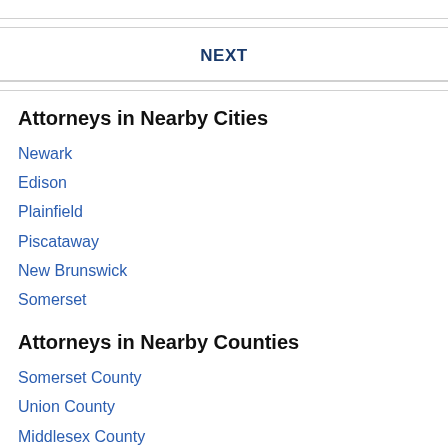NEXT
Attorneys in Nearby Cities
Newark
Edison
Plainfield
Piscataway
New Brunswick
Somerset
Attorneys in Nearby Counties
Somerset County
Union County
Middlesex County